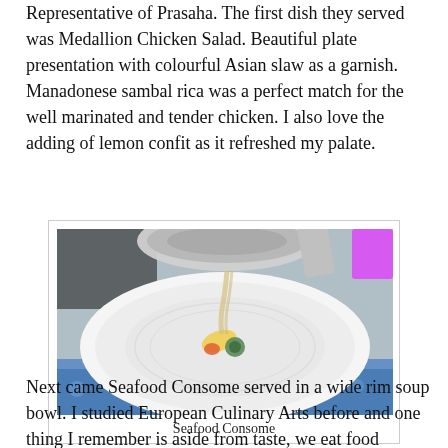Representative of Prasaha. The first dish they served was Medallion Chicken Salad. Beautiful plate presentation with colourful Asian slaw as a garnish. Manadonese sambal rica was a perfect match for the well marinated and tender chicken. I also love the adding of lemon confit as it refreshed my palate.
[Figure (photo): A wide rim white soup bowl with colorful vegetables and garnish, with a silver ladle pouring broth into it, on a blue patterned tablecloth.]
Seafood Consome
Next came Seafood Consome served in a wide rim soup bowl. I studied European Culinary Arts before and one thing I remember is aside from taste, we eat food visually. And this bowl of seafood